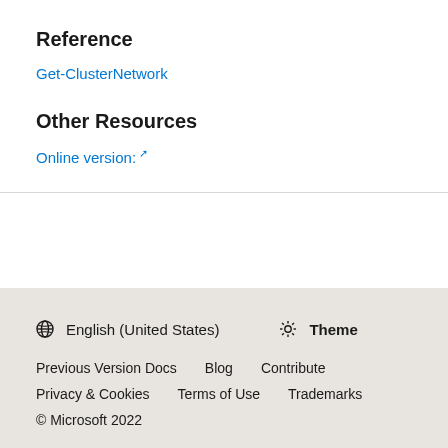Reference
Get-ClusterNetwork
Other Resources
Online version: ↗
🌐 English (United States)  ☀ Theme  Previous Version Docs  Blog  Contribute  Privacy & Cookies  Terms of Use  Trademarks  © Microsoft 2022